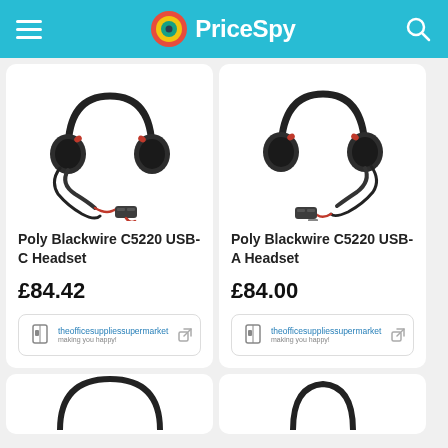PriceSpy
[Figure (photo): Photo of Poly Blackwire C5220 USB-C Headset — black over-ear headset with red-accented cable and inline controller]
Poly Blackwire C5220 USB-C Headset
£84.42
[Figure (logo): theofficesuppliessupermarket retailer logo]
[Figure (photo): Photo of Poly Blackwire C5220 USB-A Headset — black over-ear headset with red-accented cable and USB-A inline controller]
Poly Blackwire C5220 USB-A Headset
£84.00
[Figure (logo): theofficesuppliessupermarket retailer logo]